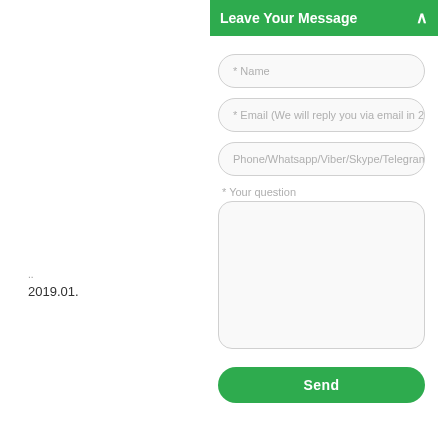2019.01.
Leave Your Message
[Figure (screenshot): Web contact form widget with fields for Name, Email, Phone/Whatsapp/Viber/Skype/Telegram/Messenger, Your question textarea, and a Send button. Green header bar with title and collapse arrow.]